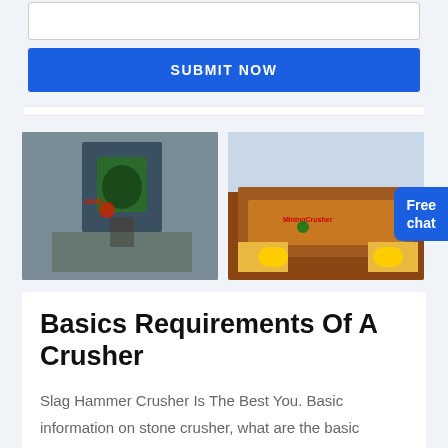[Figure (screenshot): Textarea input box (form element) with resize handle at bottom-right corner]
[Figure (screenshot): Blue 'SUBMIT NOW' button]
[Figure (photo): Left photo: aerial/overhead view of a stone crusher machine with green spiral components and red logo, industrial site]
[Figure (photo): Right photo: yellow and rust-colored industrial vibrating screen/feeder machine on construction site]
[Figure (screenshot): Blue 'Free chat' button with person icon in top-right corner of images]
Basics Requirements Of A Crusher
Slag Hammer Crusher Is The Best You. Basic information on stone crusher, what are the basic requirements to start a stone crusher business,